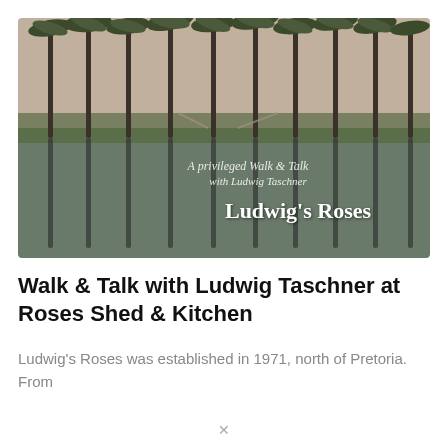[Figure (photo): Landscape photo showing tall palm trees reflected in water, with flat farmland in background under a hazy sky. Overlaid text reads 'A privileged Walk & Talk with Ludwig Taschner' in italic script and 'Ludwig's Roses' in decorative white serif font.]
Walk & Talk with Ludwig Taschner at Roses Shed & Kitchen
Ludwig's Roses was established in 1971, north of Pretoria. From